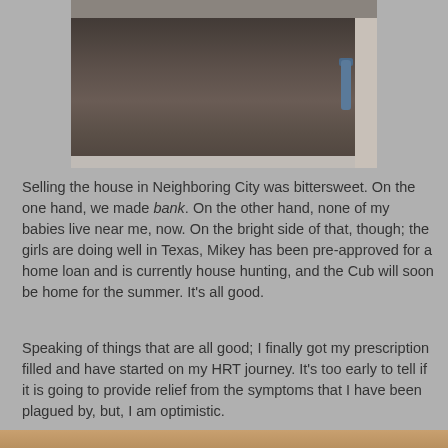[Figure (photo): Interior photo of an empty room with dark brown carpet, white baseboards, and a white door frame on the right side with a blue door handle/lock visible.]
Selling the house in Neighboring City was bittersweet. On the one hand, we made bank. On the other hand, none of my babies live near me, now. On the bright side of that, though; the girls are doing well in Texas, Mikey has been pre-approved for a home loan and is currently house hunting, and the Cub will soon be home for the summer. It's all good.
Speaking of things that are all good; I finally got my prescription filled and have started on my HRT journey. It's too early to tell if it is going to provide relief from the symptoms that I have been plagued by, but, I am optimistic.
[Figure (photo): Partial view of a photo at the bottom of the page, showing warm tones suggesting an interior or outdoor scene.]